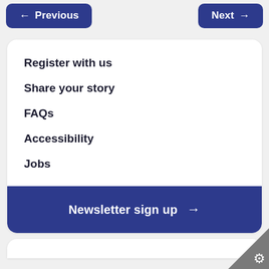[Figure (other): Navigation buttons: Previous (left arrow) and Next (right arrow), dark blue rounded buttons at top of page]
Register with us
Share your story
FAQs
Accessibility
Jobs
Newsletter sign up →